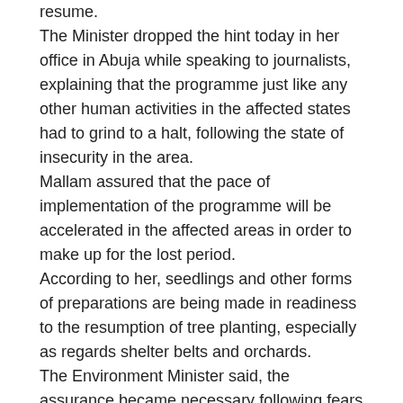resume. The Minister dropped the hint today in her office in Abuja while speaking to journalists, explaining that the programme just like any other human activities in the affected states had to grind to a halt, following the state of insecurity in the area. Mallam assured that the pace of implementation of the programme will be accelerated in the affected areas in order to make up for the lost period. According to her, seedlings and other forms of preparations are being made in readiness to the resumption of tree planting, especially as regards shelter belts and orchards. The Environment Minister said, the assurance became necessary following fears expressed by members of the public
[Figure (infographic): Social media sharing icons row: WhatsApp (green), Facebook (blue), Twitter (light blue), LinkedIn (dark blue), Pinterest (red), Reddit (orange), Email/Mail (dark red), Print (blue printer)]